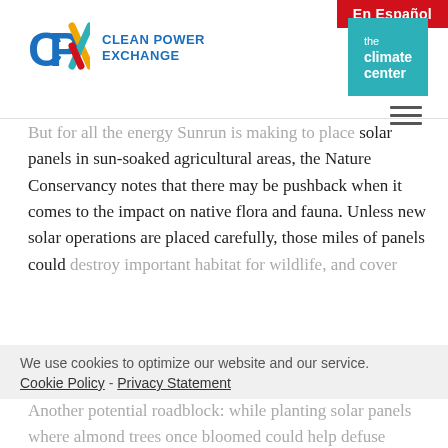En Español
[Figure (logo): CPX Clean Power Exchange logo with climate center logo]
But for all the energy Sunrun is making to place solar panels in sun-soaked agricultural areas, the Nature Conservancy notes that there may be pushback when it comes to the impact on native flora and fauna. Unless new solar operations are placed carefully, those miles of panels could destroy important habitat for wildlife, and cover farmland with reflective surfaces for decades.
We use cookies to optimize our website and our service.
Cookie Policy -  Privacy Statement
Another potential roadblock: while planting solar panels where almond trees once bloomed could help defuse California's looming water crisis, so far, most installations have gone up on cattle